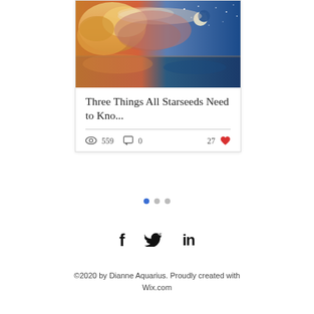[Figure (photo): Dramatic sky scene with glowing golden-orange clouds on the left and a deep blue starry night sky with a crescent moon on the right, reflected on water below.]
Three Things All Starseeds Need to Kno...
559 views  0 comments  27 likes
[Figure (infographic): Pagination dots: three dots, first one filled blue, other two grey.]
[Figure (infographic): Social media icons row: Facebook (f), Twitter (bird), LinkedIn (in)]
©2020 by Dianne Aquarius. Proudly created with Wix.com